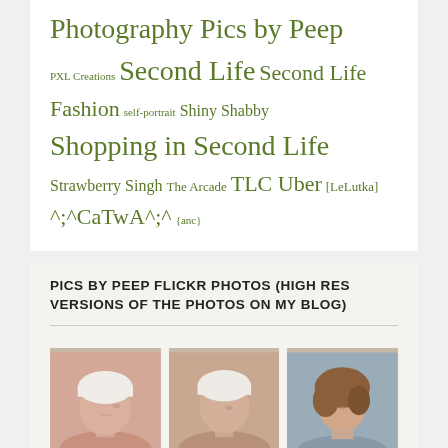Photography Pics by Peep PXL Creations Second Life Second Life Fashion self-portrait Shiny Shabby Shopping in Second Life Strawberry Singh The Arcade TLC Uber [LeLutka] ^;^CaTwA^;^ {anc}
PICS BY PEEP FLICKR PHOTOS (HIGH RES VERSIONS OF THE PHOTOS ON MY BLOG)
[Figure (photo): Three thumbnail photos of women, appearing to be Second Life avatar portraits]
More Photos